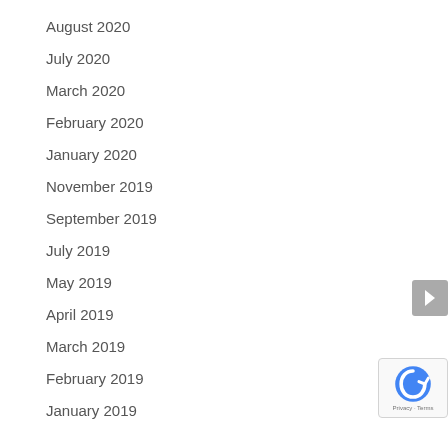August 2020
July 2020
March 2020
February 2020
January 2020
November 2019
September 2019
July 2019
May 2019
April 2019
March 2019
February 2019
January 2019